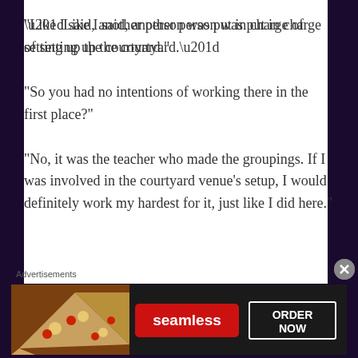“Like I said, another person was put in charge of setting up the courtyard.”
“So you had no intentions of working there in the first place?”
“No, it was the teacher who made the groupings. If I was involved in the courtyard venue’s setup, I would definitely work my hardest for it, just like I did here.”
Advertisements
[Figure (other): Seamless food delivery advertisement banner showing pizza slices on the left, a red Seamless logo button in the center, and an ORDER NOW button on the right, on a dark background.]